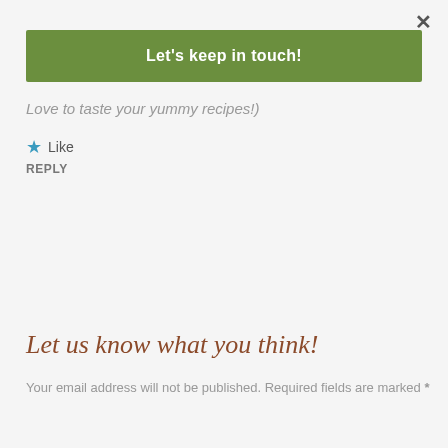×
Let's keep in touch!
Love to taste your yummy recipes!
★ Like
REPLY
Let us know what you think!
Your email address will not be published. Required fields are marked *